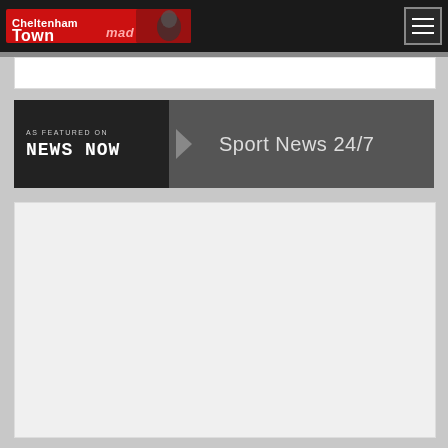Cheltenham Town Mad | Sport News 24/7
[Figure (logo): Cheltenham Town Mad logo - red and black banner with text]
[Figure (screenshot): Navigation menu button (hamburger icon) in grey box]
[Figure (screenshot): AS FEATURED ON News Now banner with Sport News 24/7 text on grey background]
[Figure (screenshot): Large empty light grey content area placeholder]